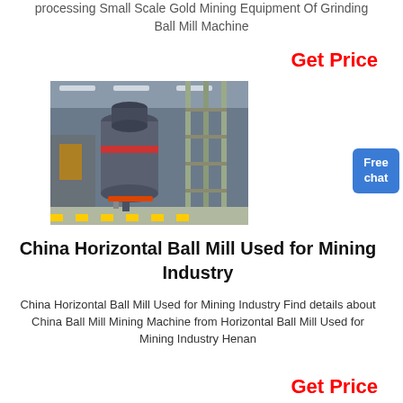processing Small Scale Gold Mining Equipment Of Grinding Ball Mill Machine
Get Price
[Figure (photo): Industrial ball mill machine inside a factory warehouse]
Free chat
China Horizontal Ball Mill Used for Mining Industry
China Horizontal Ball Mill Used for Mining Industry Find details about China Ball Mill Mining Machine from Horizontal Ball Mill Used for Mining Industry Henan
Get Price